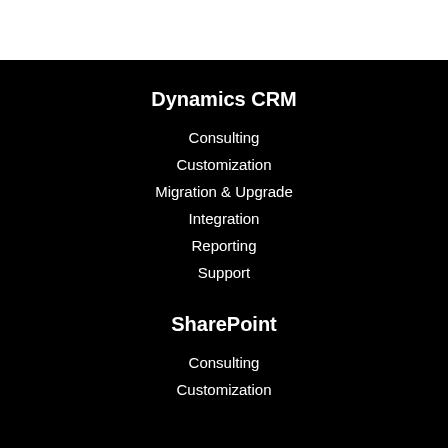Dynamics CRM
Consulting
Customization
Migration & Upgrade
Integration
Reporting
Support
SharePoint
Consulting
Customization